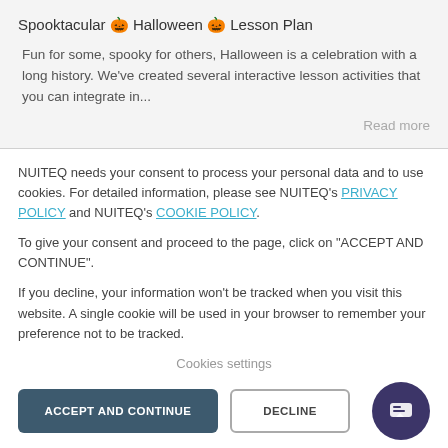Spooktacular 🎃 Halloween 🎃 Lesson Plan
Fun for some, spooky for others, Halloween is a celebration with a long history. We've created several interactive lesson activities that you can integrate in...
Read more
NUITEQ needs your consent to process your personal data and to use cookies. For detailed information, please see NUITEQ's PRIVACY POLICY and NUITEQ's COOKIE POLICY.
To give your consent and proceed to the page, click on "ACCEPT AND CONTINUE".
If you decline, your information won't be tracked when you visit this website. A single cookie will be used in your browser to remember your preference not to be tracked.
Cookies settings
ACCEPT AND CONTINUE
DECLINE